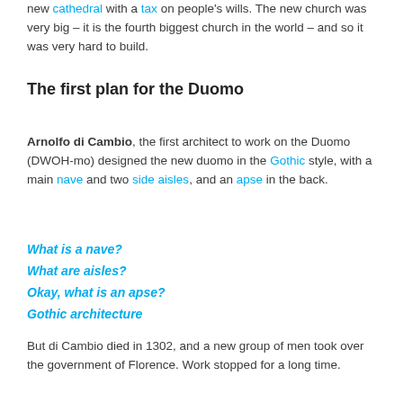new cathedral with a tax on people's wills. The new church was very big – it is the fourth biggest church in the world – and so it was very hard to build.
The first plan for the Duomo
Arnolfo di Cambio, the first architect to work on the Duomo (DWOH-mo) designed the new duomo in the Gothic style, with a main nave and two side aisles, and an apse in the back.
What is a nave?
What are aisles?
Okay, what is an apse?
Gothic architecture
But di Cambio died in 1302, and a new group of men took over the government of Florence. Work stopped for a long time.